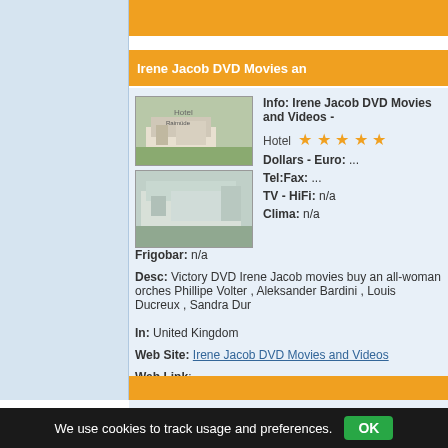Irene Jacob DVD Movies an
Info: Irene Jacob DVD Movies and Videos -
Hotel ★★★★★
Dollars - Euro: ...
Tel:Fax: ...
TV - HiFi: n/a
Clima: n/a
Frigobar: n/a
Desc: Victory DVD Irene Jacob movies buy an all-woman orches Phillipe Volter , Aleksander Bardini , Louis Ducreux , Sandra Dur
In: United Kingdom
Web Site: Irene Jacob DVD Movies and Videos
Web Link: http://www.cduniverse.com/search/xx/movie/star/102
We use cookies to track usage and preferences. OK